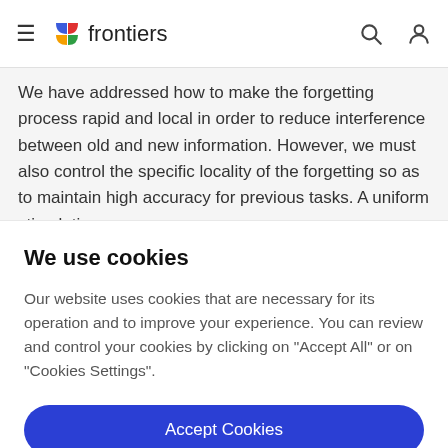frontiers
We have addressed how to make the forgetting process rapid and local in order to reduce interference between old and new information. However, we must also control the specific locality of the forgetting so as to maintain high accuracy for previous tasks. A uniform stimulation
We use cookies
Our website uses cookies that are necessary for its operation and to improve your experience. You can review and control your cookies by clicking on "Accept All" or on "Cookies Settings".
Accept Cookies
Cookies Settings